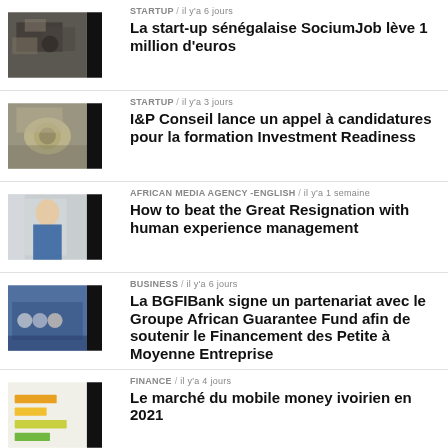[Figure (photo): People working, startup scene - thumbnail]
STARTUP / il y'a 6 jours
La start-up sénégalaise SociumJob lève 1 million d'euros
[Figure (photo): Dollar bills - thumbnail]
STARTUP / il y'a 3 jours
I&P Conseil lance un appel à candidatures pour la formation Investment Readiness
[Figure (photo): Man in suit - thumbnail]
AFRICAN MEDIA AGENCY -ENGLISH / il y'a 1 semaine
How to beat the Great Resignation with human experience management
[Figure (photo): Business meeting / signing ceremony - thumbnail]
BUSINESS / il y'a 6 jours
La BGFIBank signe un partenariat avec le Groupe African Guarantee Fund afin de soutenir le Financement des Petite à Moyenne Entreprise
[Figure (infographic): Bar chart / mobile money graphic - thumbnail]
FINANCE / il y'a 4 jours
Le marché du mobile money ivoirien en 2021